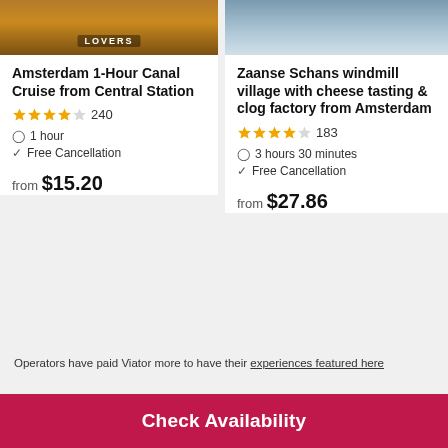[Figure (photo): Top portion of Amsterdam canal cruise card showing a boat with LOVERS branding and orange/Dutch flag colors]
Amsterdam 1-Hour Canal Cruise from Central Station
★★★★☆ 240
⊙ 1 hour
✓ Free Cancellation
from $15.20
[Figure (photo): Top portion of Zaanse Schans windmill village card showing a boat on water]
Zaanse Schans windmill village with cheese tasting & clog factory from Amsterdam
★★★★☆ 183
⊙ 3 hours 30 minutes
✓ Free Cancellation
from $27.86
Operators have paid Viator more to have their experiences featured here
Overview
Check Availability